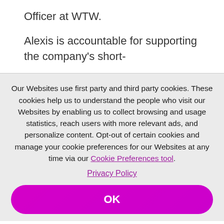Officer at WTW.
Alexis is accountable for supporting the company's short-
Our Websites use first party and third party cookies. These cookies help us to understand the people who visit our Websites by enabling us to collect browsing and usage statistics, reach users with more relevant ads, and personalize content. Opt-out of certain cookies and manage your cookie preferences for our Websites at any time via our Cookie Preferences tool.
Privacy Policy
OK